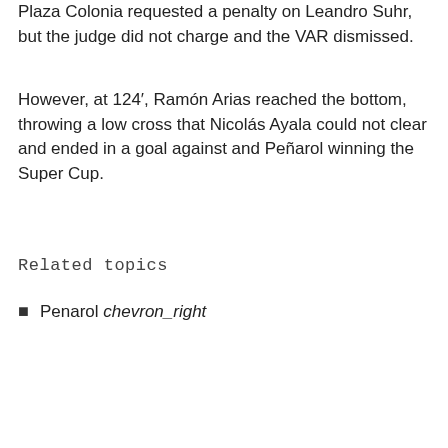Plaza Colonia requested a penalty on Leandro Suhr, but the judge did not charge and the VAR dismissed.
However, at 124′, Ramón Arias reached the bottom, throwing a low cross that Nicolás Ayala could not clear and ended in a goal against and Peñarol winning the Super Cup.
Related topics
Penarol chevron_right